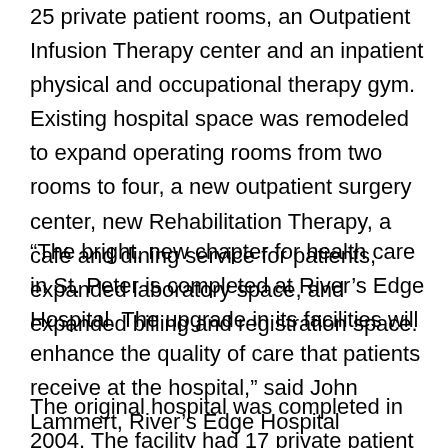25 private patient rooms, an Outpatient Infusion Therapy center and an inpatient physical and occupational therapy gym.  Existing hospital space was remodeled to expand operating rooms from two rooms to four, a new outpatient surgery center, new Rehabilitation Therapy, a café and dining service for patients, expanded laboratory space, and expanded billing and registration space.
“The bright, new chapter for health care in St. Peter is completed at River’s Edge Hospital. The upgrade in its facilities will enhance the quality of care that patients receive at the hospital,” said John Lammert, River’s Edge Hospital Commission Chairperson.
The original hospital was completed in 2004.  The facility had 17 private patient rooms and a small